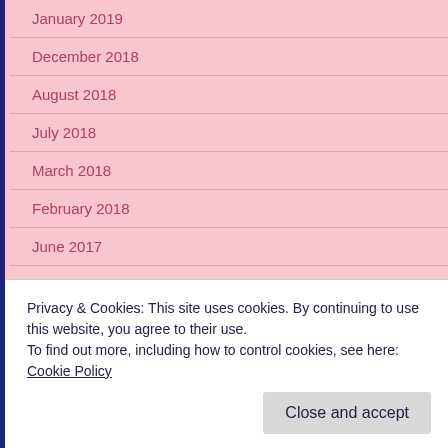January 2019
December 2018
August 2018
July 2018
March 2018
February 2018
June 2017
March 2017
February 2017
January 2017
November 2016
Privacy & Cookies: This site uses cookies. By continuing to use this website, you agree to their use.
To find out more, including how to control cookies, see here: Cookie Policy
Close and accept